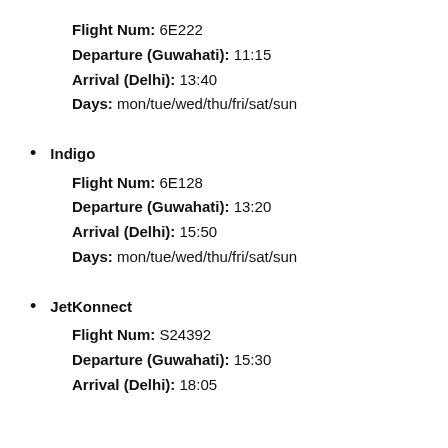Flight Num: 6E222
Departure (Guwahati): 11:15
Arrival (Delhi): 13:40
Days: mon/tue/wed/thu/fri/sat/sun
Indigo
Flight Num: 6E128
Departure (Guwahati): 13:20
Arrival (Delhi): 15:50
Days: mon/tue/wed/thu/fri/sat/sun
JetKonnect
Flight Num: S24392
Departure (Guwahati): 15:30
Arrival (Delhi): 18:05